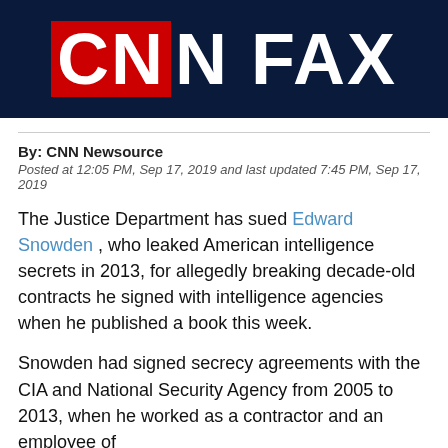[Figure (logo): CNN logo banner on dark navy background showing partial text 'CNN FAX' in white with red CNN box]
By: CNN Newsource
Posted at 12:05 PM, Sep 17, 2019 and last updated 7:45 PM, Sep 17, 2019
The Justice Department has sued Edward Snowden , who leaked American intelligence secrets in 2013, for allegedly breaking decade-old contracts he signed with intelligence agencies when he published a book this week.
Snowden had signed secrecy agreements with the CIA and National Security Agency from 2005 to 2013, when he worked as a contractor and an employee of